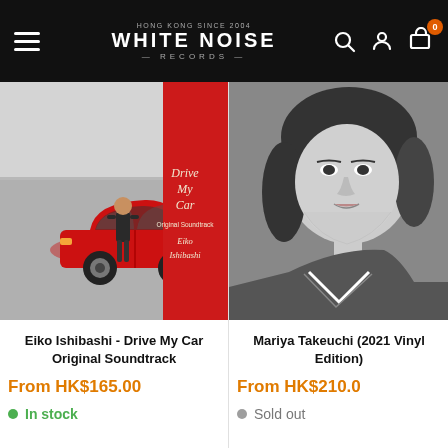White Noise Records — navigation bar with hamburger menu, logo, search, account, and cart icons
[Figure (photo): Album cover for Eiko Ishibashi - Drive My Car Original Soundtrack, showing a man in black standing in front of a red car with a red panel on the right reading 'Drive My Car Original Soundtrack Eiko Ishibashi']
Eiko Ishibashi - Drive My Car Original Soundtrack
From HK$165.00
In stock
[Figure (photo): Black and white close-up portrait photo of Mariya Takeuchi]
Mariya Takeuchi (2021 Vinyl Edition)
From HK$210.0
Sold out